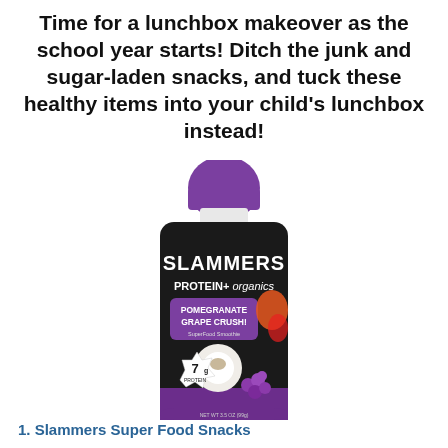Time for a lunchbox makeover as the school year starts! Ditch the junk and sugar-laden snacks, and tuck these healthy items into your child's lunchbox instead!
[Figure (photo): A black squeeze pouch of Slammers Protein+ Organics Pomegranate Grape Crush SuperFood Smoothie with a purple cap, showing 7g protein badge and colorful fruits on the packaging.]
1. Slammers Super Food Snacks